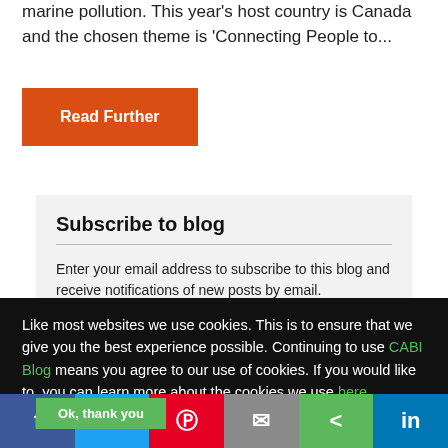marine pollution. This year's host country is Canada and the chosen theme is 'Connecting People to...
Read Further
Subscribe to blog
Enter your email address to subscribe to this blog and receive notifications of new posts by email.
Like most websites we use cookies. This is to ensure that we give you the best experience possible. Continuing to use CABI Blog means you agree to our use of cookies. If you would like to, you can learn more about the cookies we use here.
Ok, thank you